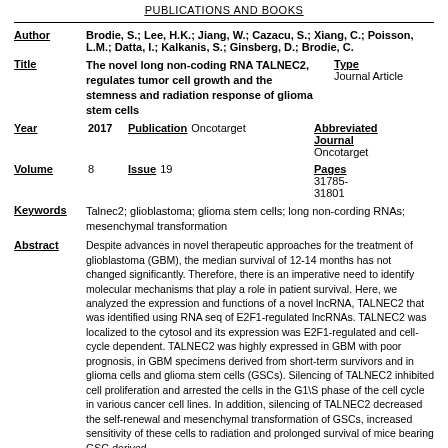PUBLICATIONS AND BOOKS
Author: Brodie, S.; Lee, H.K.; Jiang, W.; Cazacu, S.; Xiang, C.; Poisson, L.M.; Datta, I.; Kalkanis, S.; Ginsberg, D.; Brodie, C.
Title: The novel long non-coding RNA TALNEC2, regulates tumor cell growth and the stemness and radiation response of glioma stem cells | Type: Journal Article
Year: 2017 | Publication: Oncotarget | Abbreviated Journal: Oncotarget
Volume: 8 | Issue: 19 | Pages: 31785-31801
Keywords: Talnec2; glioblastoma; glioma stem cells; long non-cording RNAs; mesenchymal transformation
Abstract: Despite advances in novel therapeutic approaches for the treatment of glioblastoma (GBM), the median survival of 12-14 months has not changed significantly. Therefore, there is an imperative need to identify molecular mechanisms that play a role in patient survival. Here, we analyzed the expression and functions of a novel lncRNA, TALNEC2 that was identified using RNA seq of E2F1-regulated lncRNAs. TALNEC2 was localized to the cytosol and its expression was E2F1-regulated and cell-cycle dependent. TALNEC2 was highly expressed in GBM with poor prognosis, in GBM specimens derived from short-term survivors and in glioma cells and glioma stem cells (GSCs). Silencing of TALNEC2 inhibited cell proliferation and arrested the cells in the G1\S phase of the cell cycle in various cancer cell lines. In addition, silencing of TALNEC2 decreased the self-renewal and mesenchymal transformation of GSCs, increased sensitivity of these cells to radiation and prolonged survival of mice bearing GSC-derived